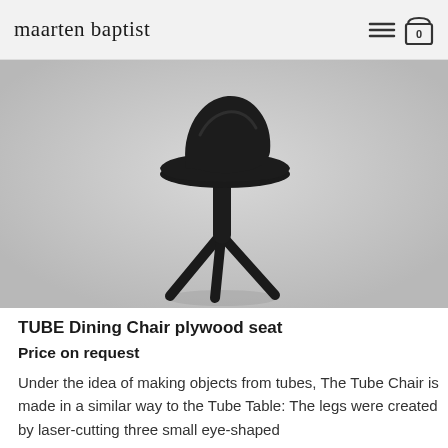maarten baptist | 0
[Figure (photo): A black TUBE Dining Chair with plywood seat on a light grey background. The chair has a sculptural black seat shell and three angled tubular legs connected by a central post.]
TUBE Dining Chair plywood seat
Price on request
Under the idea of making objects from tubes, The Tube Chair is made in a similar way to the Tube Table: The legs were created by laser-cutting three small eye-shaped